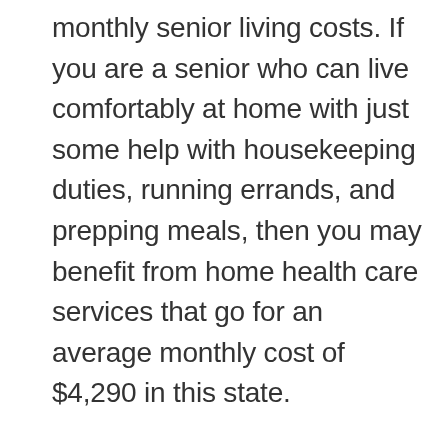monthly senior living costs. If you are a senior who can live comfortably at home with just some help with housekeeping duties, running errands, and prepping meals, then you may benefit from home health care services that go for an average monthly cost of $4,290 in this state.
Seniors requiring more help with accomplishing everyday tasks may consider staying at an assisted living facility in Utah. For an average monthly cost of $3,150 a month, elderly individuals can be assured they are well taken care of by health professionals and staff.